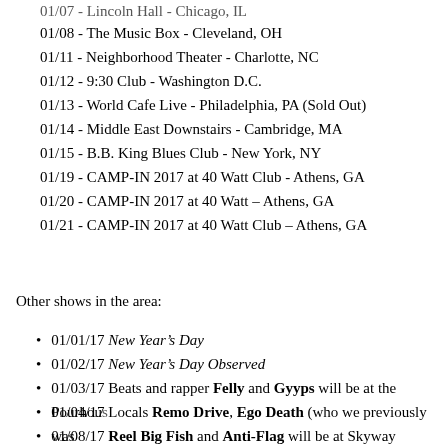01/07 - Lincoln Hall - Chicago, IL (partial, cut off)
01/08 - The Music Box - Cleveland, OH
01/11 - Neighborhood Theater - Charlotte, NC
01/12 - 9:30 Club - Washington D.C.
01/13 - World Cafe Live - Philadelphia, PA (Sold Out)
01/14 - Middle East Downstairs - Cambridge, MA
01/15 - B.B. King Blues Club - New York, NY
01/19 - CAMP-IN 2017 at 40 Watt Club - Athens, GA
01/20 - CAMP-IN 2017 at 40 Watt – Athens, GA
01/21 - CAMP-IN 2017 at 40 Watt Club – Athens, GA
Other shows in the area:
01/01/17 New Year's Day
01/02/17 New Year's Day Observed
01/03/17 Beats and rapper Felly and Gyyps will be at the Pourhouse...
01/04/17 Locals Remo Drive, Ego Death (who we previously was...
01/08/17 Reel Big Fish and Anti-Flag will be at Skyway Theatre. S...